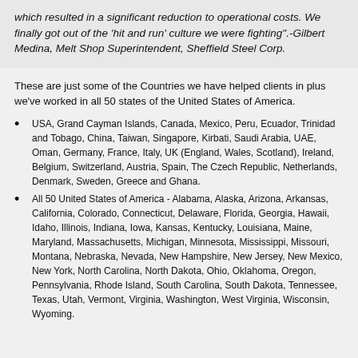which resulted in a significant reduction to operational costs. We finally got out of the 'hit and run' culture we were fighting". -Gilbert Medina, Melt Shop Superintendent, Sheffield Steel Corp.
These are just some of the Countries we have helped clients in plus we've worked in all 50 states of the United States of America.
USA, Grand Cayman Islands, Canada, Mexico, Peru, Ecuador, Trinidad and Tobago, China, Taiwan, Singapore, Kirbati, Saudi Arabia, UAE, Oman, Germany, France, Italy, UK (England, Wales, Scotland), Ireland, Belgium, Switzerland, Austria, Spain, The Czech Republic, Netherlands, Denmark, Sweden, Greece and Ghana.
All 50 United States of America - Alabama, Alaska, Arizona, Arkansas, California, Colorado, Connecticut, Delaware, Florida, Georgia, Hawaii, Idaho, Illinois, Indiana, Iowa, Kansas, Kentucky, Louisiana, Maine, Maryland, Massachusetts, Michigan, Minnesota, Mississippi, Missouri, Montana, Nebraska, Nevada, New Hampshire, New Jersey, New Mexico, New York, North Carolina, North Dakota, Ohio, Oklahoma, Oregon, Pennsylvania, Rhode Island, South Carolina, South Dakota, Tennessee, Texas, Utah, Vermont, Virginia, Washington, West Virginia, Wisconsin, Wyoming.